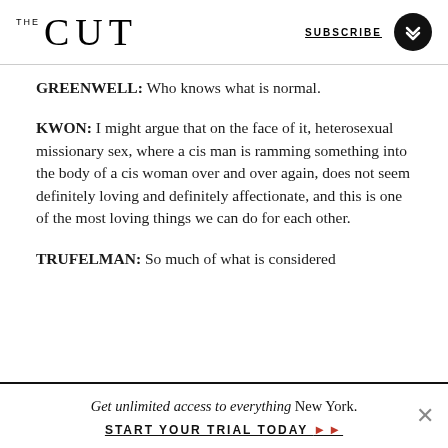THE CUT | SUBSCRIBE
GREENWELL: Who knows what is normal.
KWON: I might argue that on the face of it, heterosexual missionary sex, where a cis man is ramming something into the body of a cis woman over and over again, does not seem definitely loving and definitely affectionate, and this is one of the most loving things we can do for each other.
TRUFELMAN: So much of what is considered
Get unlimited access to everything New York. START YOUR TRIAL TODAY ➤➤